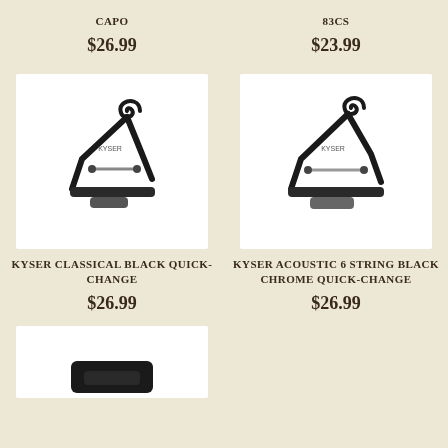CAPO
$26.99
83CS
$23.99
[Figure (photo): Kyser Classical Black Quick-Change capo, black metal body with curl handle, shown at angle]
KYSER CLASSICAL BLACK QUICK-CHANGE
$26.99
[Figure (photo): Kyser Acoustic 6 String Black Chrome Quick-Change capo, black metal with chrome accents, shown at angle]
KYSER ACOUSTIC 6 STRING BLACK CHROME QUICK-CHANGE
$26.99
[Figure (photo): Partially visible product at bottom left, appears to be a dark colored capo or accessory]